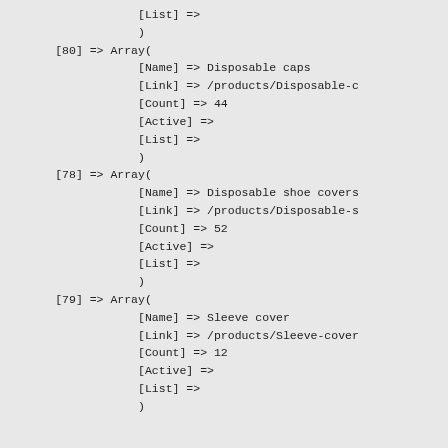[List] =>
        )
[80] => Array(
        [Name] => Disposable caps
        [Link] => /products/Disposable-c
        [Count] => 44
        [Active] =>
        [List] =>
        )
[78] => Array(
        [Name] => Disposable shoe covers
        [Link] => /products/Disposable-s
        [Count] => 52
        [Active] =>
        [List] =>
        )
[79] => Array(
        [Name] => Sleeve cover
        [Link] => /products/Sleeve-cover
        [Count] => 12
        [Active] =>
        [List] =>
        )